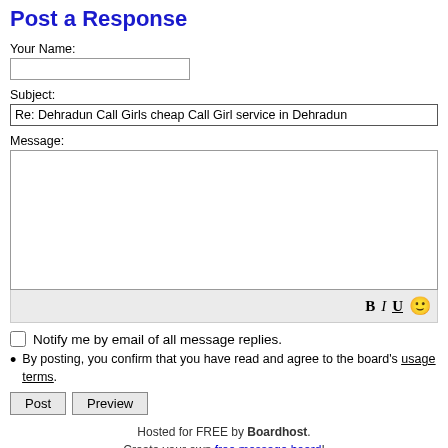Post a Response
Your Name:
Subject:
Re: Dehradun Call Girls cheap Call Girl service in Dehradun
Message:
Notify me by email of all message replies.
By posting, you confirm that you have read and agree to the board's usage terms.
Post   Preview
Hosted for FREE by Boardhost.
Create your own free message board!